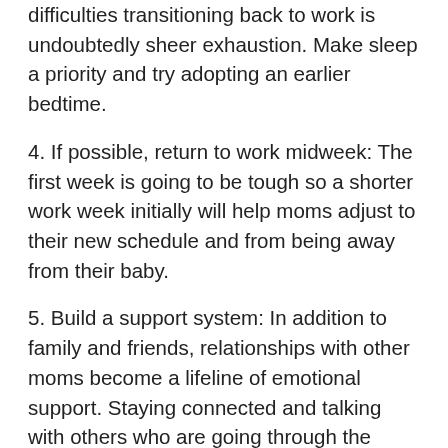difficulties transitioning back to work is undoubtedly sheer exhaustion. Make sleep a priority and try adopting an earlier bedtime.
4. If possible, return to work midweek: The first week is going to be tough so a shorter work week initially will help moms adjust to their new schedule and from being away from their baby.
5. Build a support system: In addition to family and friends, relationships with other moms become a lifeline of emotional support. Staying connected and talking with others who are going through the same journey will help you work through your mom guilt and all the other pressures you naturally feel as you re-enter the workforce as a working parent.